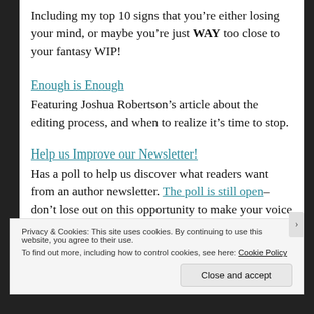Including my top 10 signs that you’re either losing your mind, or maybe you’re just WAY too close to your fantasy WIP!
Enough is Enough
Featuring Joshua Robertson’s article about the editing process, and when to realize it’s time to stop.
Help us Improve our Newsletter!
Has a poll to help us discover what readers want from an author newsletter. The poll is still open–don’t lose out on this opportunity to make your voice heard.
Privacy & Cookies: This site uses cookies. By continuing to use this website, you agree to their use.
To find out more, including how to control cookies, see here: Cookie Policy
Close and accept